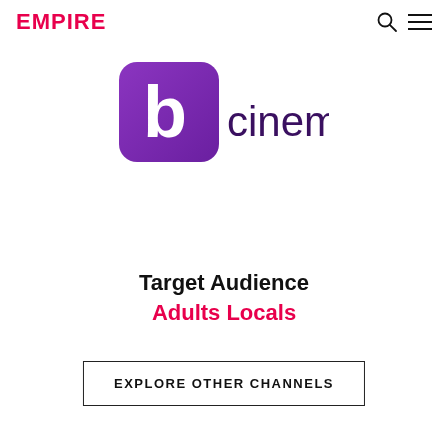EMPIRE
[Figure (logo): bcinema logo — purple rounded square with white letter b, followed by 'cinema' in dark purple text]
Target Audience
Adults Locals
EXPLORE OTHER CHANNELS